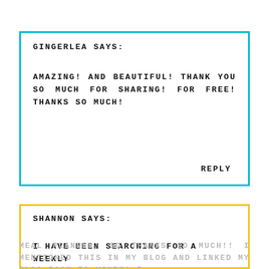GINGERLEA SAYS:
AMAZING! AND BEAUTIFUL! THANK YOU SO MUCH FOR SHARING! FOR FREE! THANKS SO MUCH!
REPLY
SHANNON SAYS:
I HAVE BEEN SEARCHING FOR A WEEKLY MEAL PLANNER, SO THANKS SO MUCH!! I MENTIONED THIS IN MY BLOG AND LINKED MY BLOG BACK TO YOURS! I